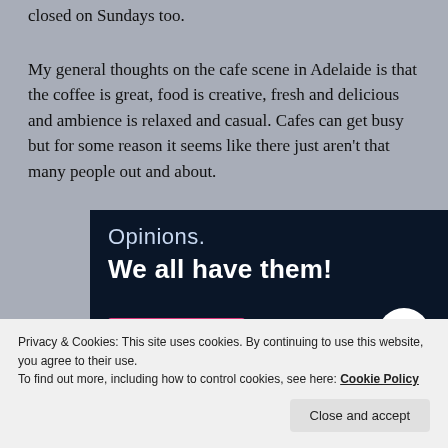closed on Sundays too.
My general thoughts on the cafe scene in Adelaide is that the coffee is great, food is creative, fresh and delicious and ambience is relaxed and casual. Cafes can get busy but for some reason it seems like there just aren't that many people out and about.
[Figure (infographic): Dark navy advertisement banner with text 'Opinions. We all have them!' in white, a pink 'Start a survey' button, and a circular CrowdSignal logo in the bottom right.]
Privacy & Cookies: This site uses cookies. By continuing to use this website, you agree to their use.
To find out more, including how to control cookies, see here: Cookie Policy